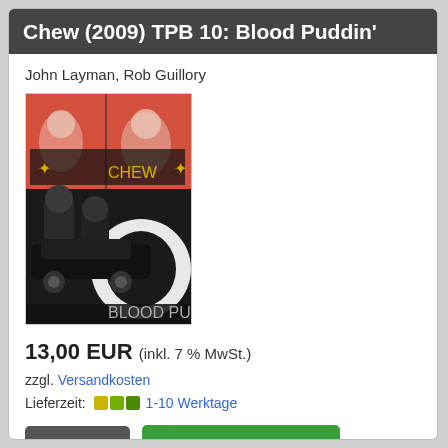Chew (2009) TPB 10: Blood Puddin'
John Layman, Rob Guillory
[Figure (illustration): Book cover of Chew comic TPB 10: Blood Puddin' — red, black and white illustrated comic cover showing characters and the CHEW logo]
13,00 EUR (inkl. 7 % MwSt.)
zzgl. Versandkosten
Lieferzeit: 1-10 Werktage
Details
In den Warenkorb